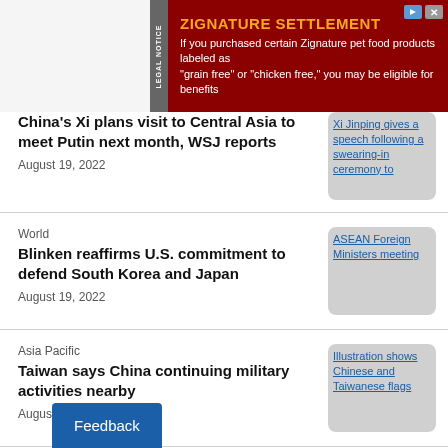[Figure (other): Advertisement banner for Zignature Settlement. Dark red background with orange bold title 'ZIGNATURE SETTLEMENT' and white text 'If you purchased certain Zignature pet food products labeled as "grain free" or "chicken free," you may be eligible for benefits'. Legal notice vertical text on left side.]
China's Xi plans visit to Central Asia to meet Putin next month, WSJ reports
August 19, 2022
[Figure (photo): Xi Jinping gives a speech following a swearing-in ceremony to]
World
Blinken reaffirms U.S. commitment to defend South Korea and Japan
August 19, 2022
[Figure (photo): ASEAN Foreign Ministers meeting]
Asia Pacific
Taiwan says China continuing military activities nearby
August 19, 2022
[Figure (photo): Illustration shows Chinese and Taiwanese flags]
Ch
Ch... NEV purchase tax
[Figure (photo): Staff member hooks up a charging]